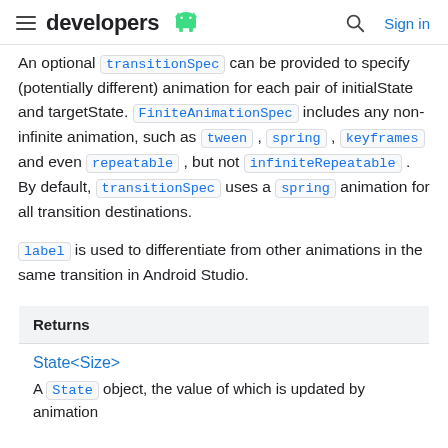developers (android logo) | Search | Sign in
An optional transitionSpec can be provided to specify (potentially different) animation for each pair of initialState and targetState. FiniteAnimationSpec includes any non-infinite animation, such as tween , spring , keyframes and even repeatable , but not infiniteRepeatable . By default, transitionSpec uses a spring animation for all transition destinations.
label is used to differentiate from other animations in the same transition in Android Studio.
| Returns |
| --- |
| State<Size> |
| A State object, the value of which is updated by animation |